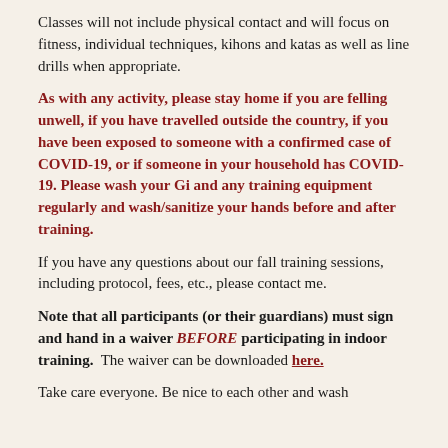Classes will not include physical contact and will focus on fitness, individual techniques, kihons and katas as well as line drills when appropriate.
As with any activity, please stay home if you are felling unwell, if you have travelled outside the country, if you have been exposed to someone with a confirmed case of COVID-19, or if someone in your household has COVID-19. Please wash your Gi and any training equipment regularly and wash/sanitize your hands before and after training.
If you have any questions about our fall training sessions, including protocol, fees, etc., please contact me.
Note that all participants (or their guardians) must sign and hand in a waiver BEFORE participating in indoor training. The waiver can be downloaded here.
Take care everyone. Be nice to each other and wash